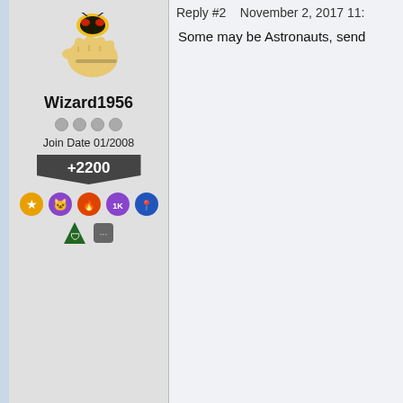Reply #2    November 2, 2017 11:
[Figure (illustration): Wasp/bee fist avatar image for Wizard1956]
Wizard1956
Join Date 01/2008
+2200
Some may be Astronauts, send
Reply #3    November 2, 2017 12:
[Figure (photo): Green banner avatar with photo of older man for LightStar]
LightStar
Join Date 12/2002
+964
Quoting Wizard1956, reply 2
Some may be Astronauts, ser
Good one Wiz 🐧